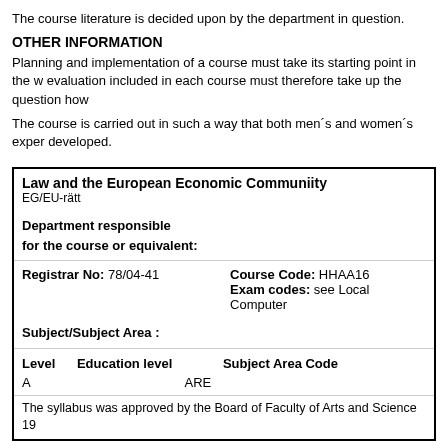The course literature is decided upon by the department in question.
OTHER INFORMATION
Planning and implementation of a course must take its starting point in the w evaluation included in each course must therefore take up the question how
The course is carried out in such a way that both men´s and women´s exper developed.
| Law and the European Economic Communiity |  |
| EG/EU-rätt |  |
| Department responsible for the course or equivalent: |  |
| Registrar No: 78/04-41 | Course Code: HHAA16 |
|  | Exam codes: see Local Computer |
| Subject/Subject Area : |  |
| Level   Education level   Subject Area Code |  |
| A | ARE |
| The syllabus was approved by the Board of Faculty of Arts and Science 19 |  |